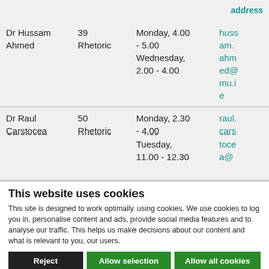|  |  |  | address |
| --- | --- | --- | --- |
| Dr Hussam Ahmed | 39 Rhetoric | Monday, 4.00 - 5.00 Wednesday, 2.00 - 4.00 | hussam.ahmed@mu.ie |
| Dr Raul Carstocea | 50 Rhetoric | Monday, 2.30 - 4.00 Tuesday, 11.00 - 12.30 | raul.carstocea@ |
This website uses cookies
This site is designed to work optimally using cookies. We use cookies to log you in, personalise content and ads, provide social media features and to analyse our traffic. This helps us make decisions about our content and what is relevant to you, our users.
Reject | Allow selection | Allow all cookies
✓ Necessary  □ Preferences  □ Statistics  □ Marketing  Show details